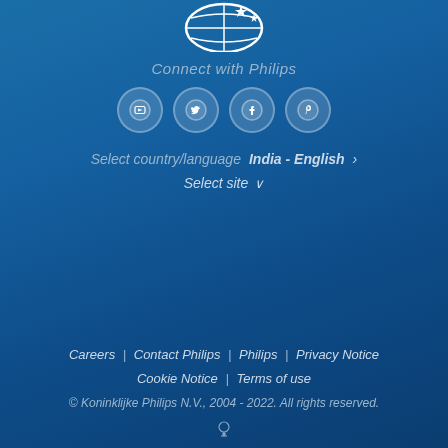[Figure (logo): Philips logo — white shield/globe with star on blue background]
Connect with Philips
[Figure (infographic): Four circular social media icons: YouTube, Twitter, Facebook, Pinterest]
Select country/language  India - English >
Select site ∨
Careers | Contact Philips | Philips | Privacy Notice
Cookie Notice | Terms of use
© Koninklijke Philips N.V., 2004 - 2022. All rights reserved.